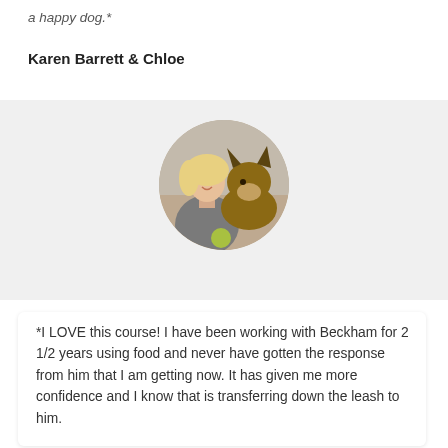a happy dog.*
Karen Barrett & Chloe
[Figure (photo): Circular photo of a woman with blonde hair smiling beside a German Shepherd dog]
*I LOVE this course! I have been working with Beckham for 2 1/2 years using food and never have gotten the response from him that I am getting now. It has given me more confidence and I know that is transferring down the leash to him.